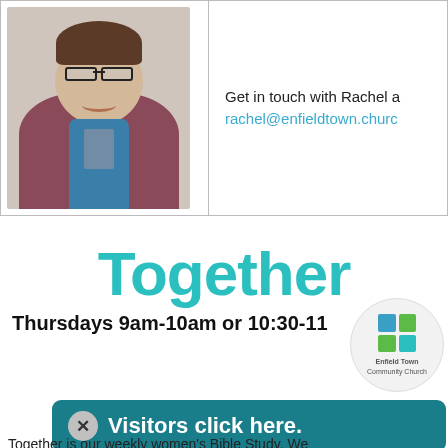[Figure (photo): Headshot photo of Rachel, a woman with glasses, brown hair, smiling, wearing a maroon hoodie and blue top]
Get in touch with Rachel at rachel@enfieldtown.chur…
Together
Thursdays 9am-10am or 10:30-11…
[Figure (logo): Enfield Town Community Church logo — circular with a multicolored cross/grid icon]
Visitors click here.
Together is our weekly women's Bible Study. We…